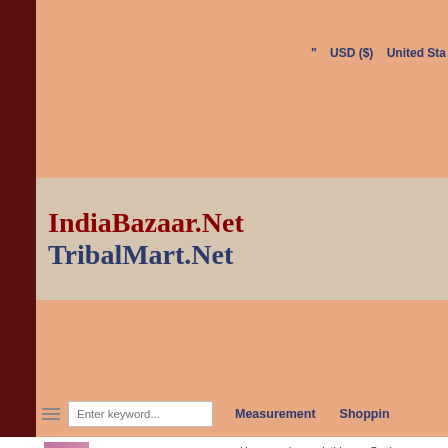" USD ($)  United States
[Figure (logo): IndiaBazaar.Net / TribalMart.Net logo on salmon/tan background]
Enter keyword...  Measurement  Shopping
[Figure (photo): Thumbnail of dancer in pink - dance clothing category]
dance clothing
[Figure (photo): Thumbnail - Indian clothing category]
Indian clothing
[Figure (photo): Thumbnail - Tribal indian Jewellery category]
Tribal indian Jewellery
[Figure (photo): Thumbnail - Bollywood category (partial)]
Home :: dance clothing :: Banja
banjara skirts 38
← Previous product | Next
[Figure (photo): Product image - dark background (partial, bottom of page)]